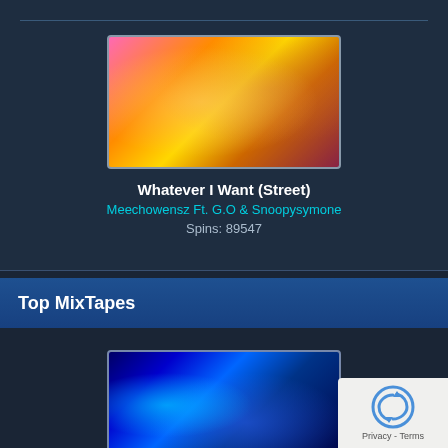[Figure (photo): Album art thumbnail for 'Whatever I Want (Street)' — colorful concert/music scene with pink, orange, gold tones]
Whatever I Want (Street)
Meechowensz Ft. G.O & Snoopysymone
Spins: 89547
Top MixTapes
[Figure (photo): Album art thumbnail for 'The Assassination' — dark blue futuristic scene with bright blue light/energy glow]
The Assassination
The Assassinz
Spins: 128901